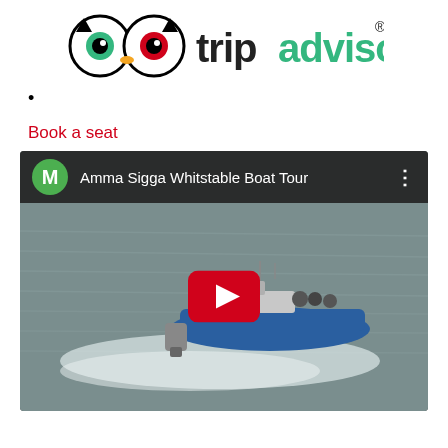[Figure (logo): TripAdvisor logo with owl icon and tripadvisor text in black and green]
•
Book a seat
[Figure (screenshot): YouTube video thumbnail showing 'Amma Sigga Whitstable Boat Tour' with a speedboat on water, red YouTube play button overlay, and video top bar with green M avatar and three-dot menu]